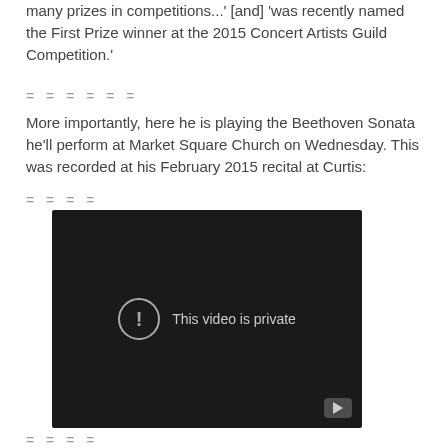many prizes in competitions...' [and] 'was recently named the First Prize winner at the 2015 Concert Artists Guild Competition.'
= = = = = =
More importantly, here he is playing the Beethoven Sonata he'll perform at Market Square Church on Wednesday. This was recorded at his February 2015 recital at Curtis:
= = = =
[Figure (screenshot): Embedded video player showing 'This video is private' message with a circle-exclamation icon and a YouTube play button in the bottom right corner.]
= = = =
Originally from the San Francisco Area, he started studying...